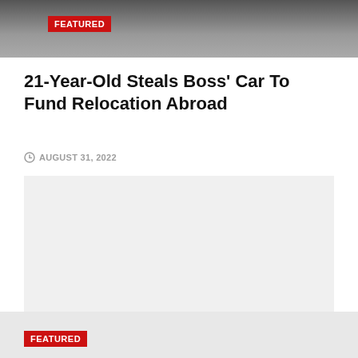[Figure (photo): A dark photograph showing a car, partially visible, on a road surface. A red FEATURED badge overlays the top-left corner.]
21-Year-Old Steals Boss’ Car To Fund Relocation Abroad
AUGUST 31, 2022
[Figure (other): Gray advertisement placeholder rectangle]
FEATURED